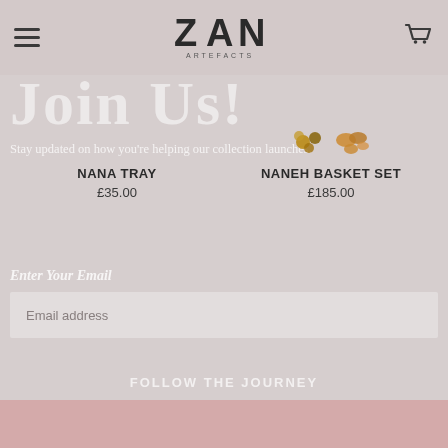[Figure (logo): ZAN Artefacts logo with stylized Z A N text]
Join Us!
[Figure (photo): Small product image of NANA TRAY]
NANA TRAY
£35.00
[Figure (photo): Small product image of NANEH BASKET SET with nuts/seeds]
NANEH BASKET SET
£185.00
Stay updated on how you're helping our collection launches.
Enter Your Email
Email address
FOLLOW THE JOURNEY